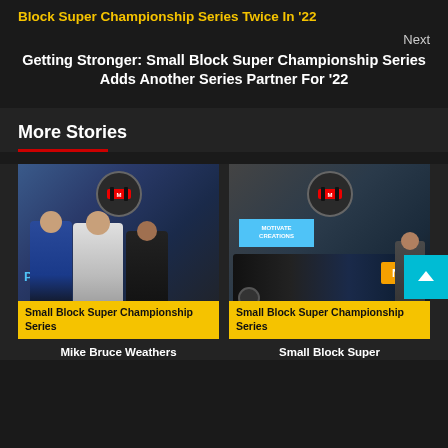Block Super Championship Series Twice In '22
Next
Getting Stronger: Small Block Super Championship Series Adds Another Series Partner For '22
More Stories
[Figure (photo): Racing drivers posing together at night event with Small Block Super Championship Series logo badge overlay and yellow label at bottom. Photo credit: BRIAN RACEWICZ / KPN]
Small Block Super Championship Series
[Figure (photo): Racing car at pit or garage area with Small Block Super Championship Series logo badge overlay. Photo credit: REBECCA EISE]
Small Block Super Championship Series
Mike Bruce Weathers
Small Block Super